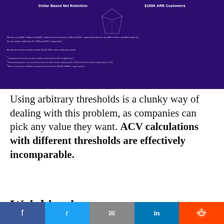[Figure (infographic): Dark purple background infographic section showing 'Dollar Based Net Retention' and '$100K ARR Customers' labels at top, a faint diamond/gem icon in the center, and footnotes at the bottom explaining net loss figures and definitions for fiscal years 2020 and 2021.]
Using arbitrary thresholds is a clunky way of dealing with this problem, as companies can pick any value they want. ACV calculations with different thresholds are effectively incomparable.
Weighing in